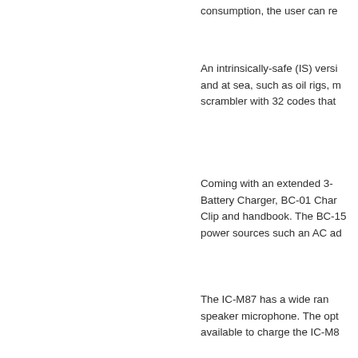consumption, the user can re
An intrinsically-safe (IS) versi and at sea, such as oil rigs, m scrambler with 32 codes that
Coming with an extended 3- Battery Charger, BC-01 Char Clip and handbook. The BC-15 power sources such an AC ad
The IC-M87 has a wide ran speaker microphone. The opt available to charge the IC-M8